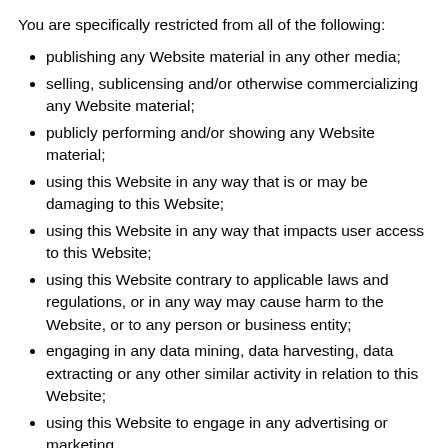You are specifically restricted from all of the following:
publishing any Website material in any other media;
selling, sublicensing and/or otherwise commercializing any Website material;
publicly performing and/or showing any Website material;
using this Website in any way that is or may be damaging to this Website;
using this Website in any way that impacts user access to this Website;
using this Website contrary to applicable laws and regulations, or in any way may cause harm to the Website, or to any person or business entity;
engaging in any data mining, data harvesting, data extracting or any other similar activity in relation to this Website;
using this Website to engage in any advertising or marketing.
Certain areas of this Website are restricted from being access by you and Love Served Warm may further restrict access by you to any areas of this Website, at any time, in absolute discretion. Any user ID and password you may have for this Website are confidential and you must maintain